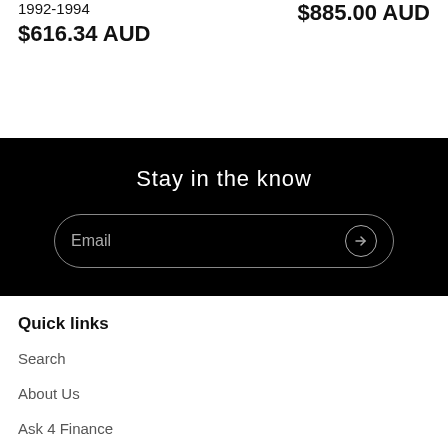1992-1994
$616.34 AUD
$885.00 AUD
Stay in the know
Email
Quick links
Search
About Us
Ask 4 Finance